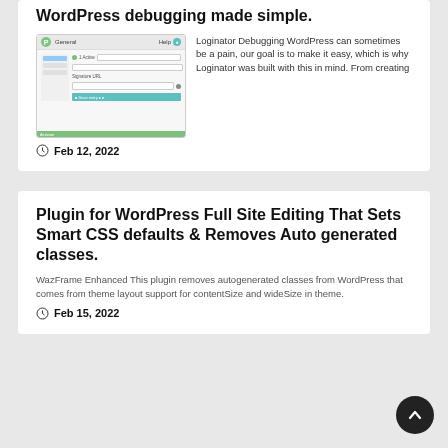WordPress debugging made simple.
[Figure (screenshot): Screenshot of Loginator WordPress plugin General settings page with Help button]
Loginator Debugging WordPress can sometimes be a pain, our goal is to make it easy, which is why Loginator was built with this in mind. From creating
Feb 12, 2022
Plugin for WordPress Full Site Editing That Sets Smart CSS defaults & Removes Auto generated classes.
WazFrame Enhanced This plugin removes autogenerated classes from WordPress that comes from theme layout support for contentSize and wideSize in theme.
Feb 15, 2022